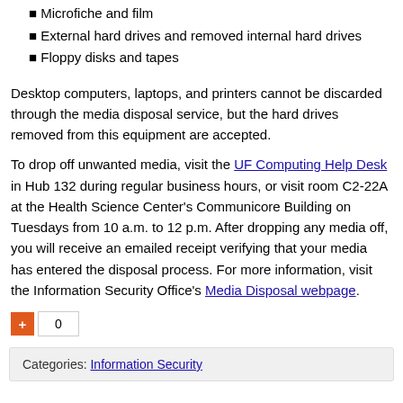Microfiche and film
External hard drives and removed internal hard drives
Floppy disks and tapes
Desktop computers, laptops, and printers cannot be discarded through the media disposal service, but the hard drives removed from this equipment are accepted.
To drop off unwanted media, visit the UF Computing Help Desk in Hub 132 during regular business hours, or visit room C2-22A at the Health Science Center's Communicore Building on Tuesdays from 10 a.m. to 12 p.m. After dropping any media off, you will receive an emailed receipt verifying that your media has entered the disposal process. For more information, visit the Information Security Office's Media Disposal webpage.
+ 0
Categories: Information Security